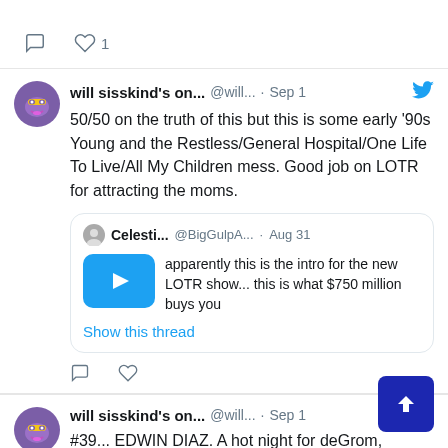[Figure (screenshot): Twitter/social media feed screenshot showing tweet interactions (comment and heart icons with count '1')]
will sisskind's on... @will... · Sep 1
50/50 on the truth of this but this is some early '90s Young and the Restless/General Hospital/One Life To Live/All My Children mess. Good job on LOTR for attracting the moms.
Celesti... @BigGulpA... · Aug 31
apparently this is the intro for the new LOTR show... this is what $750 million buys you
Show this thread
will sisskind's on... @will... · Sep 1
#39... EDWIN DIAZ. A hot night for deGrom, Brandon Nimmo with his Endy